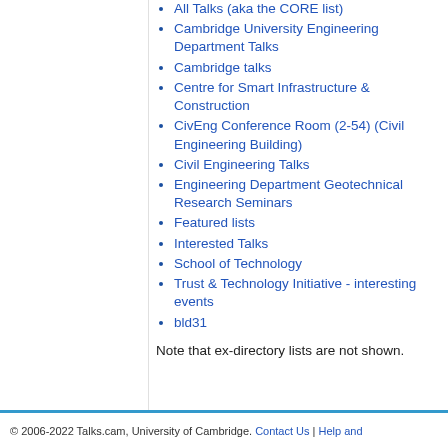All Talks (aka the CORE list)
Cambridge University Engineering Department Talks
Cambridge talks
Centre for Smart Infrastructure & Construction
CivEng Conference Room (2-54) (Civil Engineering Building)
Civil Engineering Talks
Engineering Department Geotechnical Research Seminars
Featured lists
Interested Talks
School of Technology
Trust & Technology Initiative - interesting events
bld31
Note that ex-directory lists are not shown.
© 2006-2022 Talks.cam, University of Cambridge. Contact Us | Help and